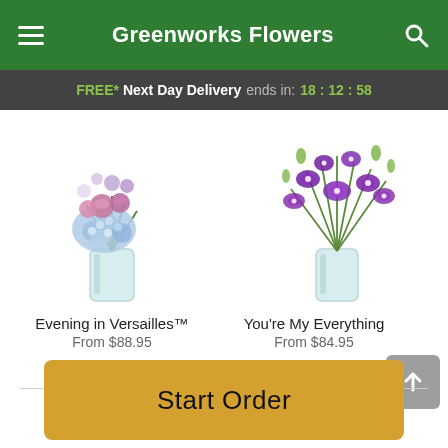Greenworks Flowers
FREE* Next Day Delivery ends in: 18:12:58
[Figure (photo): Evening in Versailles flower arrangement: blue hydrangeas and pink/purple roses in a glass vase]
Evening in Versailles™
From $88.95
[Figure (photo): You're My Everything flower arrangement: purple dendrobium orchids in a glass vase]
You're My Everything
From $84.95
Start Order